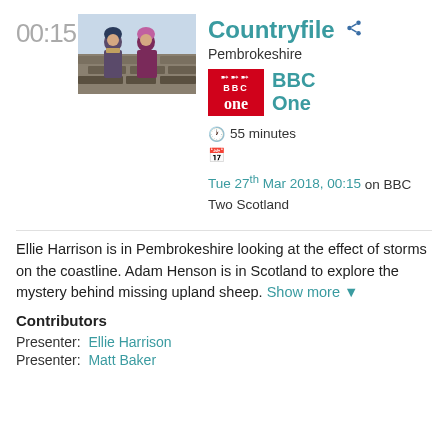00:15
[Figure (photo): Two people standing outdoors in winter clothing in front of a stone wall]
Countryfile
Pembrokeshire
[Figure (logo): BBC One logo - red rectangle with BBC text and One below]
BBC One
55 minutes
Tue 27th Mar 2018, 00:15 on BBC Two Scotland
Ellie Harrison is in Pembrokeshire looking at the effect of storms on the coastline. Adam Henson is in Scotland to explore the mystery behind missing upland sheep. Show more
Contributors
Presenter: Ellie Harrison
Presenter: Matt Baker